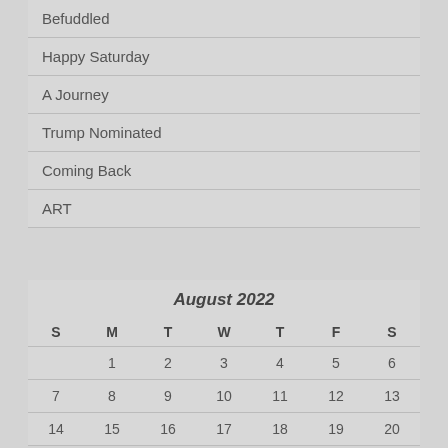Befuddled
Happy Saturday
A Journey
Trump Nominated
Coming Back
ART
| S | M | T | W | T | F | S |
| --- | --- | --- | --- | --- | --- | --- |
|  | 1 | 2 | 3 | 4 | 5 | 6 |
| 7 | 8 | 9 | 10 | 11 | 12 | 13 |
| 14 | 15 | 16 | 17 | 18 | 19 | 20 |